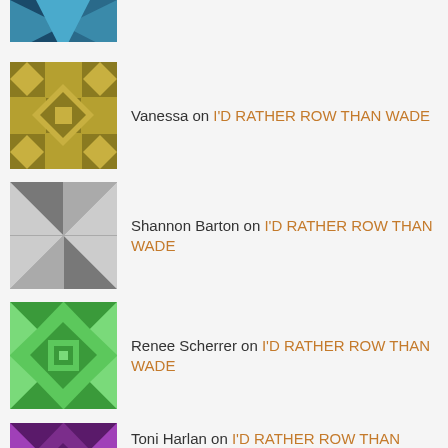(partial avatar at top)
Vanessa on I'D RATHER ROW THAN WADE
Shannon Barton on I'D RATHER ROW THAN WADE
Renee Scherrer on I'D RATHER ROW THAN WADE
Toni Harlan on I'D RATHER ROW THAN WADE
Privacy & Cookies: This site uses cookies. By continuing to use this website, you agree to their use.
To find out more, including how to control cookies, see here: Cookie Policy
Close and accept